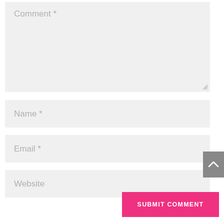[Figure (screenshot): Comment textarea field with placeholder text 'Comment *' and resize handle in bottom-right corner]
[Figure (screenshot): Name input field with placeholder text 'Name *']
[Figure (screenshot): Email input field with placeholder text 'Email *']
[Figure (screenshot): Website input field with placeholder text 'Website']
SUBMIT COMMENT